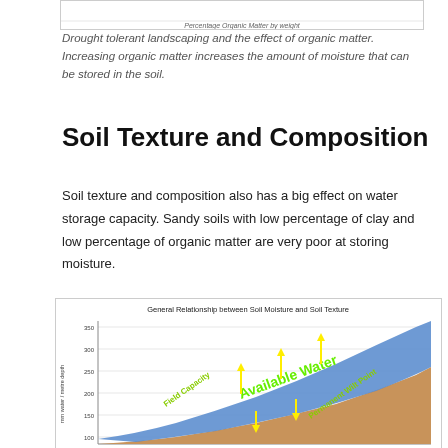[Figure (continuous-plot): Top partial chart showing Percentage Organic Matter by weight axis label]
Percentage Organic Matter by weight
Drought tolerant landscaping and the effect of organic matter. Increasing organic matter increases the amount of moisture that can be stored in the soil.
Soil Texture and Composition
Soil texture and composition also has a big effect on water storage capacity. Sandy soils with low percentage of clay and low percentage of organic matter are very poor at storing moisture.
[Figure (area-chart): Area chart showing mm water per metre depth vs soil texture. Shows Field Capacity curve (upper), Permanent Wilt Point curve (lower), and Available Water region (blue) between them with yellow arrows. Brown area below wilt point.]